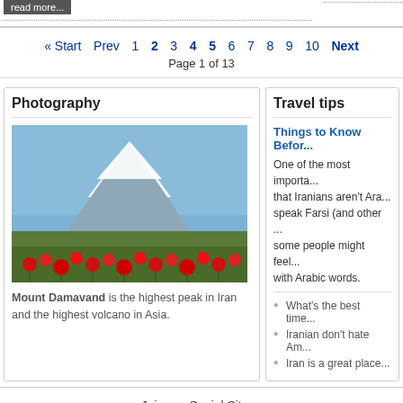read more...
Photography
[Figure (photo): Mount Damavand with snow-capped peak and red poppy flowers in foreground]
Mount Damavand is the highest peak in Iran and the highest volcano in Asia.
Travel tips
Things to Know Befor... One of the most importa... that Iranians aren't Ara... speak Farsi (and other ... some people might feel ... with Arabic words.
What's the best time...
Iranian don't hate Am...
Iran is a great place...
« Start  Prev  1  2  3  4  5  6  7  8  9  10  Next
Page 1 of 13
Join our Social Sites :